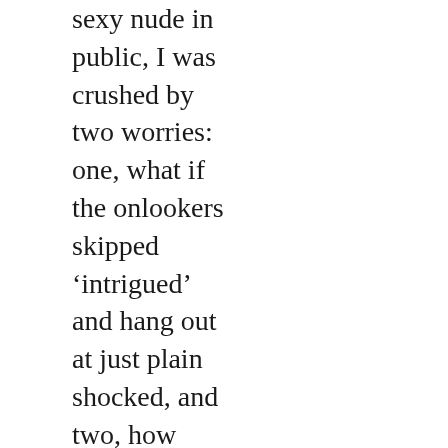sexy nude in public, I was crushed by two worries: one, what if the onlookers skipped ‘intrigued’ and hang out at just plain shocked, and two, how would I enjoy spending the rest of my life as a